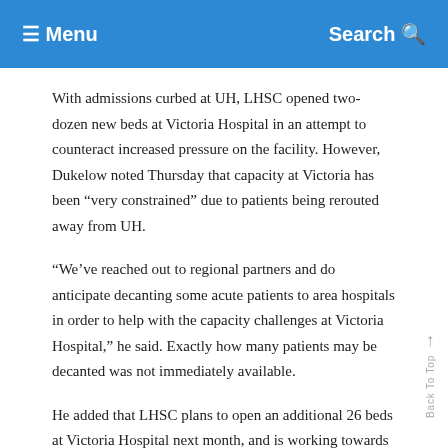≡ Menu   Search 🔍
With admissions curbed at UH, LHSC opened two-dozen new beds at Victoria Hospital in an attempt to counteract increased pressure on the facility. However, Dukelow noted Thursday that capacity at Victoria has been “very constrained” due to patients being rerouted away from UH.
“We’ve reached out to regional partners and do anticipate decanting some acute patients to area hospitals in order to help with the capacity challenges at Victoria Hospital,” he said. Exactly how many patients may be decanted was not immediately available.
He added that LHSC plans to open an additional 26 beds at Victoria Hospital next month, and is working towards having 15 per cent of capacity open to deal with incoming COVID-19 patients, as outlined in a recent memo from the CEO of Ontario Health to hospitals in red and grey zones.